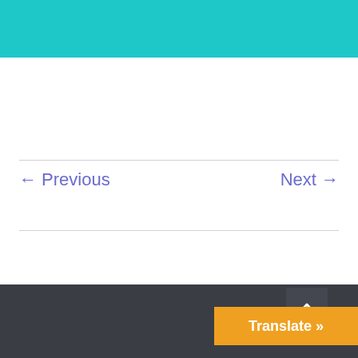[Figure (other): Teal/cyan colored banner rectangle at top of page]
← Previous
Next →
[Figure (other): Dark gray footer bar at bottom of page with scroll-to-top button and orange Translate button]
Translate »